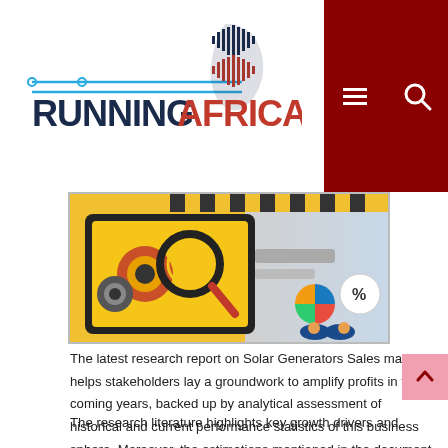RUNNINGAFRICA — navigation header with logo and hamburger/search icons
[Figure (illustration): Banner illustration showing a tablet with gears and magnifying glass, alongside pie chart and percentage icons on a light background representing market research analytics]
The latest research report on Solar Generators Sales market helps stakeholders lay a groundwork to amplify profits in the coming years, backed up by analytical assessment of historical and current performance statistics of this business sphere. Moreover, the estimations mentioned in the document are validated by tried and tested research methodologies to ensure improved decision making.
The research literature highlights key growth drivers and